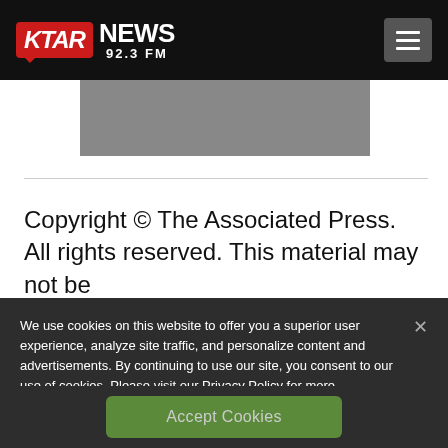KTAR NEWS 92.3 FM
[Figure (photo): Gray image placeholder area below navigation]
Copyright © The Associated Press. All rights reserved. This material may not be
We use cookies on this website to offer you a superior user experience, analyze site traffic, and personalize content and advertisements. By continuing to use our site, you consent to our use of cookies. Please visit our Privacy Policy for more information.
Accept Cookies